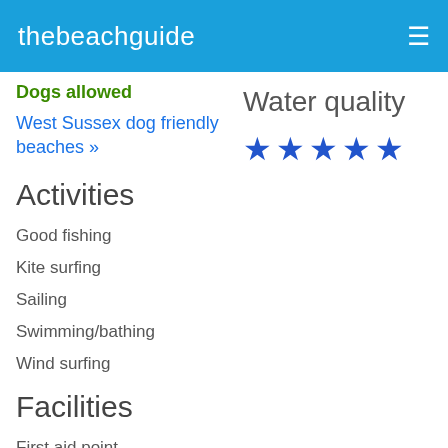thebeachguide
Dogs allowed
West Sussex dog friendly beaches »
Water quality
[Figure (other): 5 blue star rating icons for water quality]
Activities
Good fishing
Kite surfing
Sailing
Swimming/bathing
Wind surfing
Facilities
First aid point